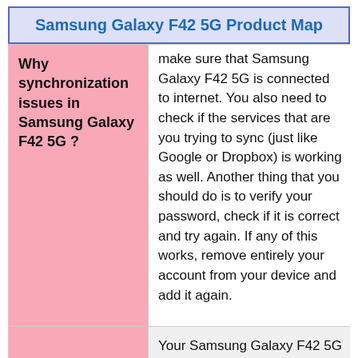Samsung Galaxy F42 5G Product Map
| Why synchronization issues in Samsung Galaxy F42 5G ? | Content |
| --- | --- |
| Why synchronization issues in Samsung Galaxy F42 5G ? | make sure that Samsung Galaxy F42 5G is connected to internet. You also need to check if the services that are you trying to sync (just like Google or Dropbox) is working as well. Another thing that you should do is to verify your password, check if it is correct and try again. If any of this works, remove entirely your account from your device and add it again. |
|  | Your Samsung Galaxy F42 5G got stuck during normal usage, and the screen may become... |